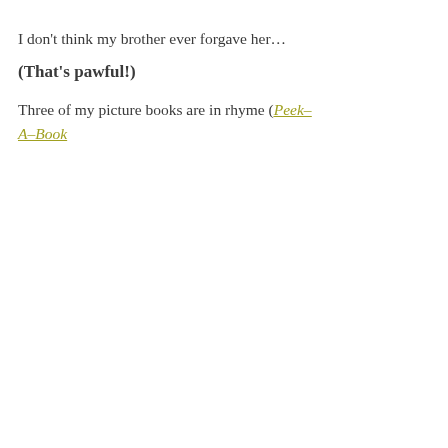I don't think my brother ever forgave her…
(That's pawful!)
Three of my picture books are in rhyme (Peek–A–Book